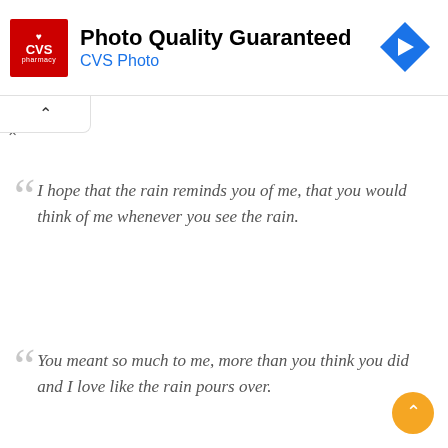[Figure (screenshot): CVS Pharmacy advertisement banner with red CVS pharmacy logo on left, text 'Photo Quality Guaranteed' in large bold black and 'CVS Photo' in blue below it, and a blue diamond navigation arrow icon on the right]
[Figure (screenshot): A collapsed UI tab with an upward chevron arrow indicating a collapsible panel]
I hope that the rain reminds you of me, that you would think of me whenever you see the rain.
You meant so much to me, more than you think you did and I love like the rain pours over.